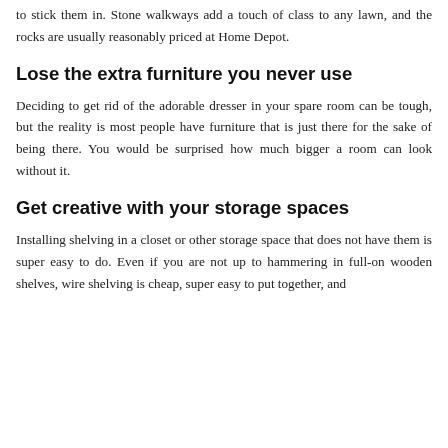to stick them in. Stone walkways add a touch of class to any lawn, and the rocks are usually reasonably priced at Home Depot.
Lose the extra furniture you never use
Deciding to get rid of the adorable dresser in your spare room can be tough, but the reality is most people have furniture that is just there for the sake of being there. You would be surprised how much bigger a room can look without it.
Get creative with your storage spaces
Installing shelving in a closet or other storage space that does not have them is super easy to do. Even if you are not up to hammering in full-on wooden shelves, wire shelving is cheap, super easy to put together, and